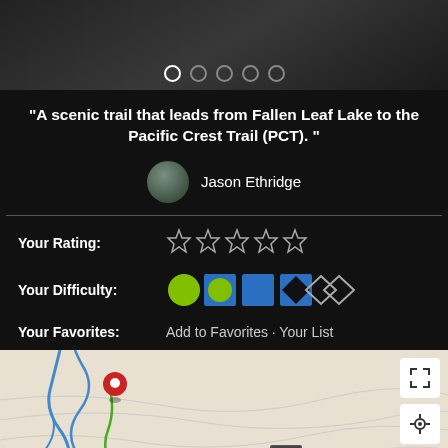[Figure (screenshot): Top image area with navigation dots showing image carousel]
“A scenic trail that leads from Fallen Leaf Lake to the Pacific Crest Trail (PCT). ”
Jason Ethridge
Your Rating: (5 empty stars)
Your Difficulty: (difficulty icons: green circle, blue circle, blue square, black diamond, two white diamonds)
Your Favorites: Add to Favorites · Your List
[Figure (map): Trail map showing route with red location pin, blue trail line, and map controls on right]